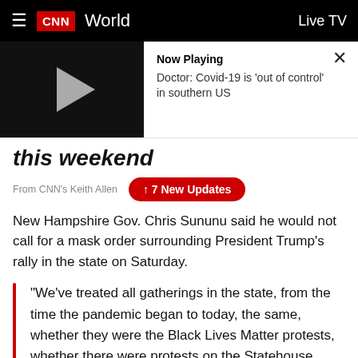CNN World | Live TV
[Figure (screenshot): CNN video thumbnail showing a play button on black background with 'Now Playing' panel: Doctor: Covid-19 is 'out of control' in southern US, with a close X button]
this weekend
From CNN's Keith Allen
↑ 7 New Updates
New Hampshire Gov. Chris Sununu said he would not call for a mask order surrounding President Trump's rally in the state on Saturday.
“We’ve treated all gatherings in the state, from the time the pandemic began to today, the same, whether they were the Black Lives Matter protests, whether there were protests on the Statehouse lawn, whether it’s a political rally, whatever it is, everyone’s always treated the same.” Sununu told reporters at a